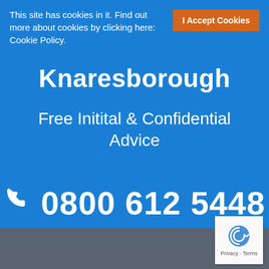This site has cookies in it. Find out more about cookies by clicking here: Cookie Policy.
I Accept Cookies
Knaresborough
Free Initital & Confidential Advice
☎ 0800 612 5448
[Figure (logo): reCAPTCHA logo with Privacy and Terms text]
Privacy · Terms